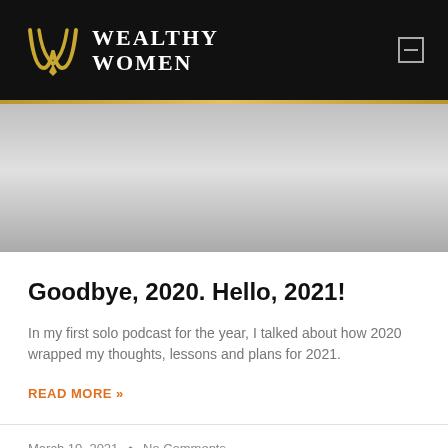Wealthy Women
[Figure (illustration): Gray gradient hero banner image placeholder]
Goodbye, 2020. Hello, 2021!
In my first solo podcast for the year, I talked about how 2020 wrapped my thoughts, lessons and plans for 2021.
READ MORE »
March 10, 2021  •  No Comments